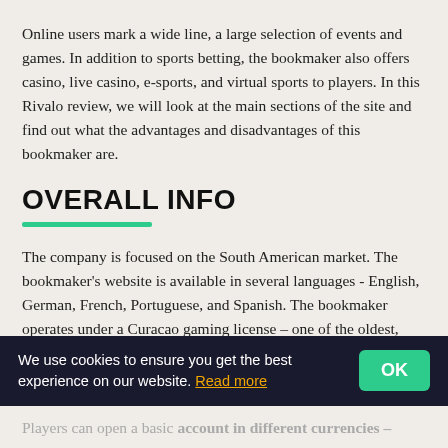Online users mark a wide line, a large selection of events and games. In addition to sports betting, the bookmaker also offers casino, live casino, e-sports, and virtual sports to players. In this Rivalo review, we will look at the main sections of the site and find out what the advantages and disadvantages of this bookmaker are.
OVERALL INFO
The company is focused on the South American market. The bookmaker's website is available in several languages - English, German, French, Portuguese, and Spanish. The bookmaker operates under a Curacao gaming license – one of the oldest, most reliable, and influential gambling licenses on the online gaming market. On the platform, you may find different betting markets, Rivalo virtual sports, betting events, online sportsbook, live streaming, different betting features, the latest promotions, and more.
We use cookies to ensure you get the best experience on our website. Read more
Players can open a basic account in different currencies –